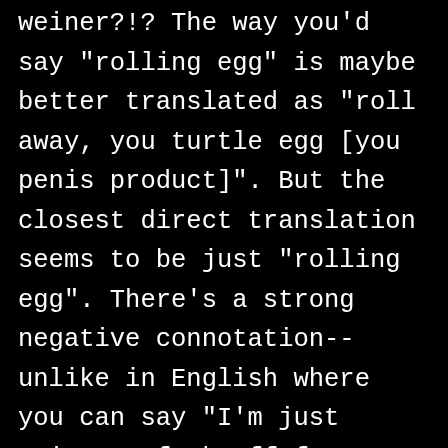weiner?!? The way you'd say "rolling egg" is maybe better translated as "roll away, you turtle egg [you penis product]". But the closest direct translation seems to be just "rolling egg". There's a strong negative connotation-- unlike in English where you can say "I'm just going to fuck off for a while", I don't think there's a fun way to say "I'm just going to roll like an egg".